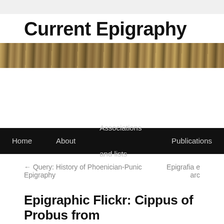Current Epigraphy
[Figure (photo): Horizontal banner photograph of ancient inscribed stone or wooden object, muted brown and tan tones]
Home   About   Associations and lists   Publications
← Query: History of Phoenician-Punic Epigraphy   Epigrafia e arc
Epigraphic Flickr: Cippus of Probus from
Posted on 2008-11-12 by Tom Elliott